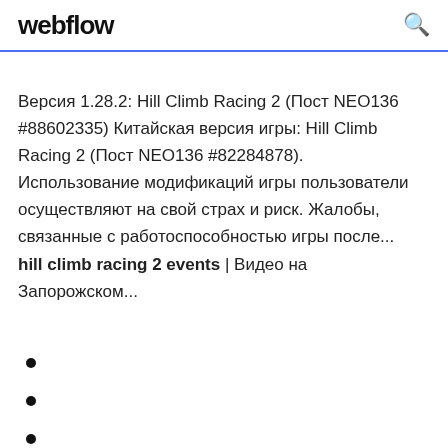webflow
Версия 1.28.2: Hill Climb Racing 2 (Пост NEO136 #88602335) Китайская версия игры: Hill Climb Racing 2 (Пост NEO136 #82284878). Использование модификаций игры пользователи осуществляют на свой страх и риск. Жалобы, связанные с работоспособностью игры после... hill climb racing 2 events | Видео на Запорожском...